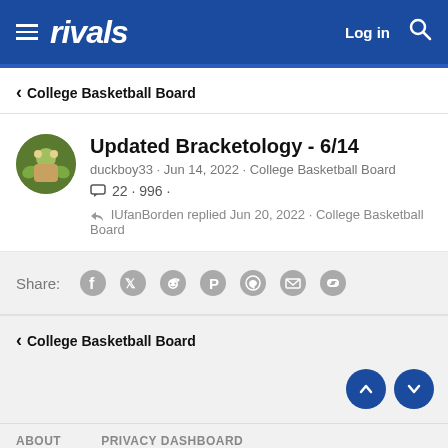rivals | Log in
College Basketball Board
Updated Bracketology - 6/14
duckboy33 · Jun 14, 2022 · College Basketball Board
22 · 996 ·
IUfanBorden replied Jun 20, 2022 · College Basketball Board
Share:
College Basketball Board
ABOUT    PRIVACY DASHBOARD